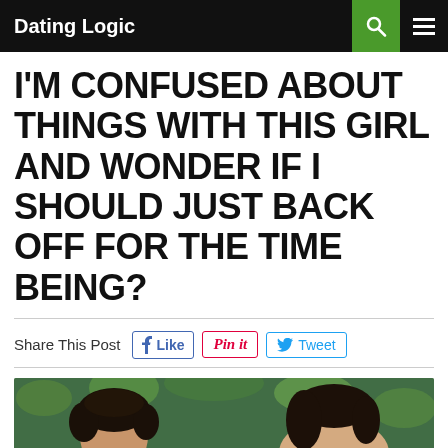Dating Logic
I'M CONFUSED ABOUT THINGS WITH THIS GIRL AND WONDER IF I SHOULD JUST BACK OFF FOR THE TIME BEING?
Share This Post
[Figure (photo): Photo of a young couple, a man with curly dark hair and a woman, outdoors with green foliage background]